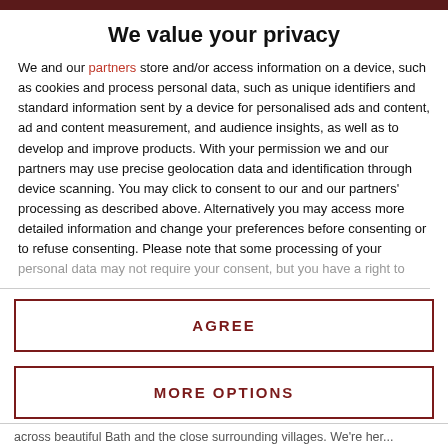We value your privacy
We and our partners store and/or access information on a device, such as cookies and process personal data, such as unique identifiers and standard information sent by a device for personalised ads and content, ad and content measurement, and audience insights, as well as to develop and improve products. With your permission we and our partners may use precise geolocation data and identification through device scanning. You may click to consent to our and our partners' processing as described above. Alternatively you may access more detailed information and change your preferences before consenting or to refuse consenting. Please note that some processing of your personal data may not require your consent, but you have a right to
AGREE
MORE OPTIONS
across beautiful Bath and the close surrounding villages. We're her...